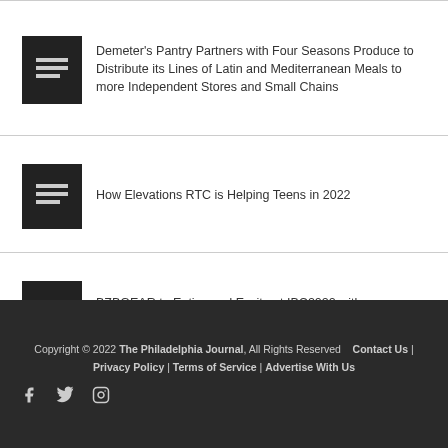Demeter’s Pantry Partners with Four Seasons Produce to Distribute its Lines of Latin and Mediterranean Meals to more Independent Stores and Small Chains
How Elevations RTC is Helping Teens in 2022
BZBGEAR to Entice and Excite at IBC2022 with Broadcasting and Pro AV Solutions
Copyright © 2022 The Philadelphia Journal, All Rights Reserved   Contact Us | Privacy Policy | Terms of Service | Advertise With Us